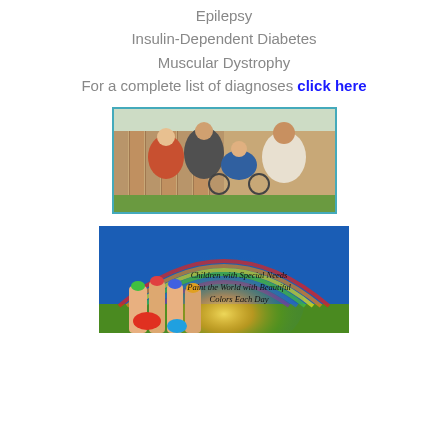Epilepsy
Insulin-Dependent Diabetes
Muscular Dystrophy
For a complete list of diagnoses click here
[Figure (photo): Family photo showing a young woman in red jacket, a woman, a child in a wheelchair/stroller, and a young man smiling outdoors near a wooden fence]
[Figure (photo): Inspirational image with blue sky, rainbow arc, painted hands raised up, and text: Children with Special Needs Paint the World with Beautiful Colors Each Day]